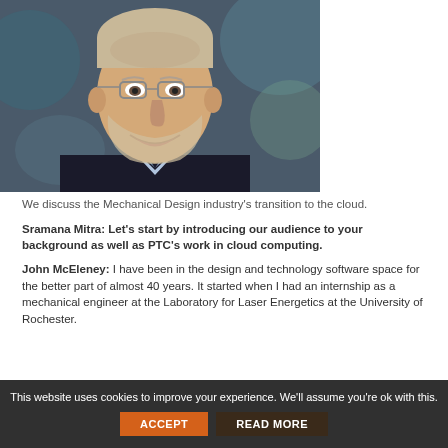[Figure (photo): Headshot of a middle-aged man with short gray-blonde hair and a beard, wearing glasses and a dark sweater over a light blue collared shirt, smiling, with a blurred background.]
We discuss the Mechanical Design industry's transition to the cloud.
Sramana Mitra: Let's start by introducing our audience to your background as well as PTC's work in cloud computing.
John McEleney: I have been in the design and technology software space for the better part of almost 40 years. It started when I had an internship as a mechanical engineer at the Laboratory for Laser Energetics at the University of Rochester.
This website uses cookies to improve your experience. We'll assume you're ok with this. ACCEPT READ MORE